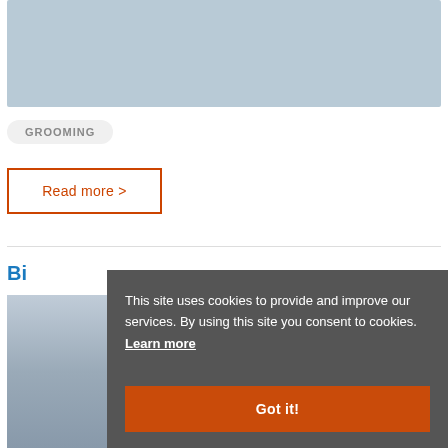[Figure (photo): Partial view of a dog or animal in a winter/snowy scene, light blue-gray tones]
GROOMING
Read more >
Bi...
[Figure (photo): Winter scene with snow, partial view at bottom of page]
This site uses cookies to provide and improve our services. By using this site you consent to cookies. Learn more
Got it!